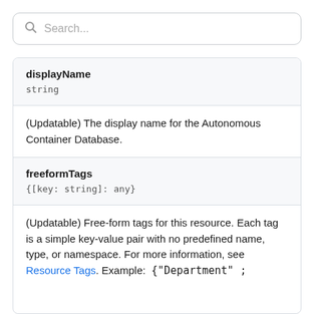[Figure (other): Search bar with magnifying glass icon and placeholder text 'Search...']
displayName
string
(Updatable) The display name for the Autonomous Container Database.
freeformTags
{[key: string]: any}
(Updatable) Free-form tags for this resource. Each tag is a simple key-value pair with no predefined name, type, or namespace. For more information, see Resource Tags. Example:  {"Department" ;